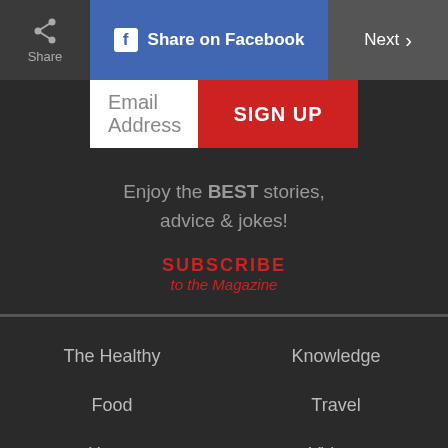[Figure (screenshot): Share button with share icon]
[Figure (screenshot): Share on Facebook button (blue)]
[Figure (screenshot): Next button with chevron]
Email Address
SIGN UP
Enjoy the BEST stories, advice & jokes!
SUBSCRIBE to the Magazine
The Healthy
Knowledge
Food
Travel
Home
Videos
Humor
Subscribe